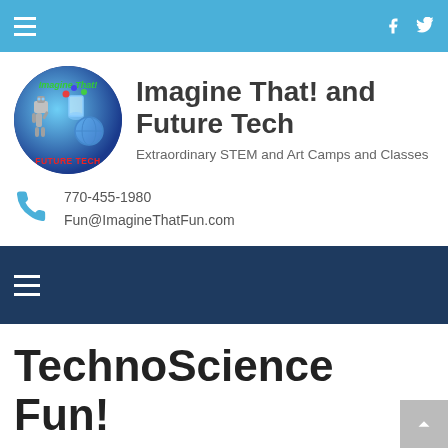Navigation bar with hamburger menu, Facebook and Twitter icons
[Figure (logo): Imagine That! and Future Tech circular logo with blue background, robot, beaker, and globe]
Imagine That! and Future Tech
Extraordinary STEM and Art Camps and Classes
770-455-1980
Fun@ImagineThatFun.com
Navigation bar with hamburger menu on dark navy background
TechnoScience Fun!
Home > Camps > Summer Camps 2020 > TechnoScience Fun!